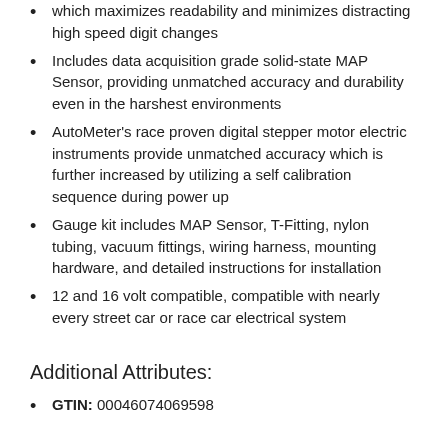which maximizes readability and minimizes distracting high speed digit changes
Includes data acquisition grade solid-state MAP Sensor, providing unmatched accuracy and durability even in the harshest environments
AutoMeter's race proven digital stepper motor electric instruments provide unmatched accuracy which is further increased by utilizing a self calibration sequence during power up
Gauge kit includes MAP Sensor, T-Fitting, nylon tubing, vacuum fittings, wiring harness, mounting hardware, and detailed instructions for installation
12 and 16 volt compatible, compatible with nearly every street car or race car electrical system
Additional Attributes:
GTIN: 00046074069598